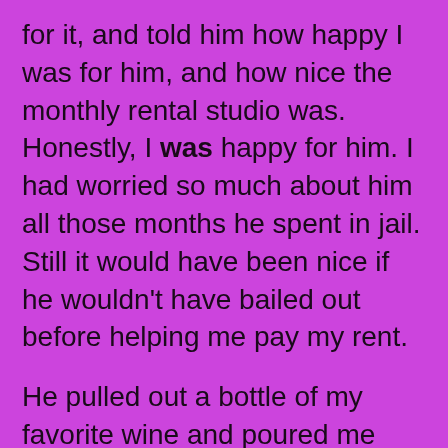for it, and told him how happy I was for him, and how nice the monthly rental studio was. Honestly, I was happy for him. I had worried so much about him all those months he spent in jail. Still it would have been nice if he wouldn't have bailed out before helping me pay my rent.

He pulled out a bottle of my favorite wine and poured me some in one of the new glasses he had just purchased, and then he poured on the charm!!! The prince can be really funny when he wants to be.

He started to ask me what happened with Bubble and I told him that he didn't want to